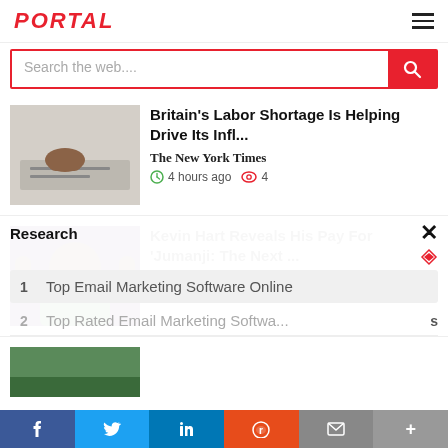PORTAL
Search the web....
Britain's Labor Shortage Is Helping Drive Its Infl...
The New York Times
4 hours ago  4
Kevin Hart Reveals His Pay For 'Jumanji: The Next ...
HUFFPOST
Research
1  Top Email Marketing Software Online
2  Top Rated Email Marketing Software...
f  t  in  reddit  mail  +